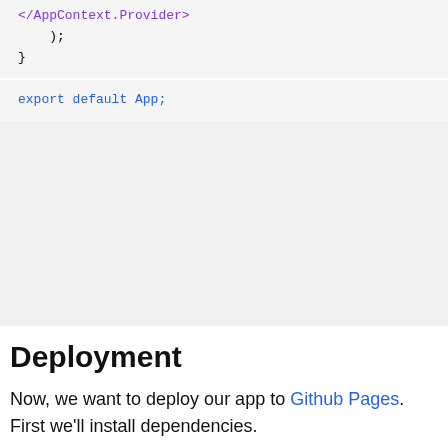</AppContext.Provider>
    );
}
export default App;
Deployment
Now, we want to deploy our app to Github Pages. First we'll install dependencies.